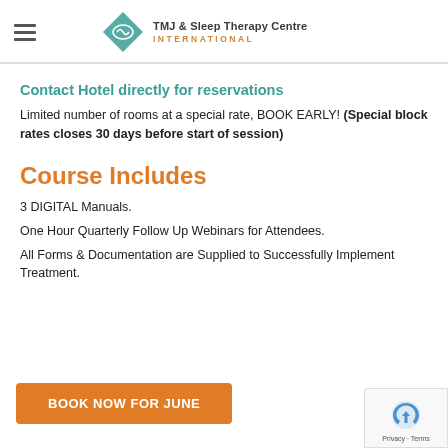TMJ & Sleep Therapy Centre INTERNATIONAL
Contact Hotel directly for reservations
Limited number of rooms at a special rate, BOOK EARLY! (Special block rates closes 30 days before start of session)
Course Includes
3 DIGITAL Manuals.
One Hour Quarterly Follow Up Webinars for Attendees.
All Forms & Documentation are Supplied to Successfully Implement Treatment.
BOOK NOW FOR JUNE